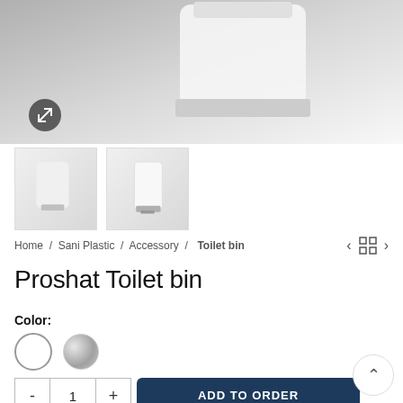[Figure (photo): Product photo of a white Proshat Toilet bin close-up, on grey gradient background]
[Figure (photo): Thumbnail 1: White toilet bin with chrome base, angled view]
[Figure (photo): Thumbnail 2: White toilet bin with chrome base, front view]
Home / Sani Plastic / Accessory / Toilet bin
Proshat Toilet bin
Color:
ADD TO ORDER